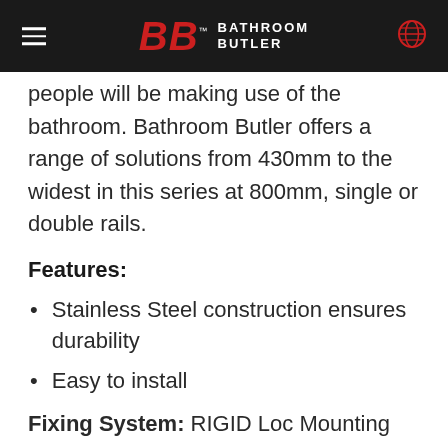Bathroom Butler
people will be making use of the bathroom. Bathroom Butler offers a range of solutions from 430mm to the widest in this series at 800mm, single or double rails.
Features:
Stainless Steel construction ensures durability
Easy to install
Fixing System: RIGID Loc Mounting System